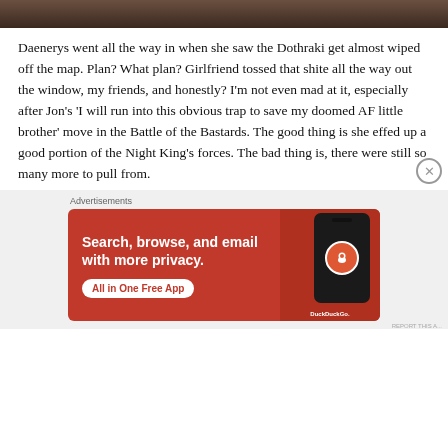[Figure (photo): Partial top of an image showing dark/brown textured background, cropped at top of page]
Daenerys went all the way in when she saw the Dothraki get almost wiped off the map. Plan? What plan? Girlfriend tossed that shite all the way out the window, my friends, and honestly? I'm not even mad at it, especially after Jon's 'I will run into this obvious trap to save my doomed AF little brother' move in the Battle of the Bastards. The good thing is she effed up a good portion of the Night King's forces. The bad thing is, there were still so many more to pull from.
Advertisements
[Figure (screenshot): DuckDuckGo advertisement banner with orange/red background. Text reads: Search, browse, and email with more privacy. All in One Free App. Shows a phone mockup with DuckDuckGo logo.]